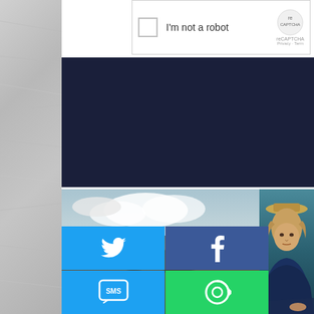[Figure (screenshot): reCAPTCHA widget with checkbox labeled 'I'm not a robot' and reCAPTCHA logo with Privacy - Terms links]
[Figure (photo): Dark navy/dark blue background bar below reCAPTCHA]
[Figure (photo): Landscape photo of arid hills with dramatic sky on left, portrait photo of young man in hat on right]
[Figure (infographic): Social sharing buttons grid: Twitter (blue), Facebook (dark blue), Email (gray), WhatsApp (green), SMS (blue), ReadSpeaker (green)]